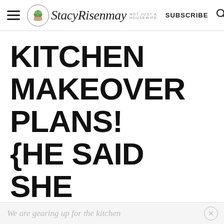StacyRisenmay — NOT JUST A HOUSEWIFE | SUBSCRIBE
KITCHEN MAKEOVER PLANS! {HE SAID SHE SAID}
By Stacy 5 Comments
We are gearing up for the kitchen